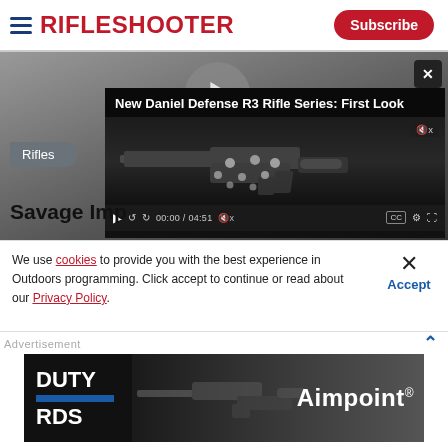RIFLESHOOTER
[Figure (screenshot): Video player showing Daniel Defense R3 Rifle Series: First Look, duration 04:51, with rifle image on dark background and video controls]
Rifles
Savage Imp...
We use cookies to provide you with the best experience in Outdoors programming. Click accept to continue or read about our Privacy Policy.
Advertisement
[Figure (advertisement): Aimpoint Duty RDS advertisement banner with dark background showing rifle with optic]